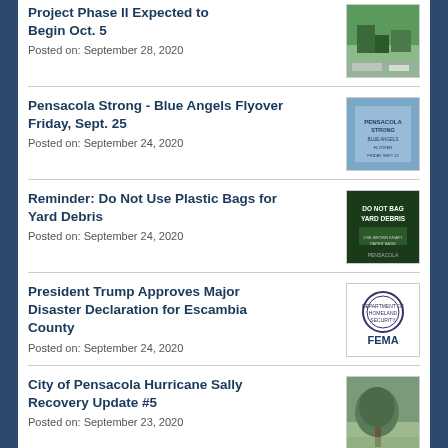Project Phase II Expected to Begin Oct. 5
Posted on: September 28, 2020
Pensacola Strong - Blue Angels Flyover Friday, Sept. 25
Posted on: September 24, 2020
Reminder: Do Not Use Plastic Bags for Yard Debris
Posted on: September 24, 2020
President Trump Approves Major Disaster Declaration for Escambia County
Posted on: September 24, 2020
City of Pensacola Hurricane Sally Recovery Update #5
Posted on: September 23, 2020